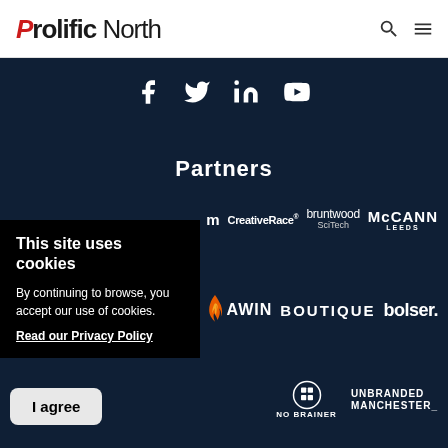Prolific North
[Figure (logo): Prolific North logo with red stylized P and black text]
[Figure (infographic): Social media icons: Facebook, Twitter, LinkedIn, YouTube in white on dark navy background]
Partners
[Figure (logo): Partner logos row 1: CreativeRace, bruntwood SciTech, McCann Leeds]
[Figure (logo): Partner logos row 2: AWIN (with flame icon), BOUTIQUE, bolser]
[Figure (logo): Partner logos row 3: No Brainer (with logo icon), UNBRANDED MANCHESTER]
This site uses cookies
By continuing to browse, you accept our use of cookies.
Read our Privacy Policy
I agree